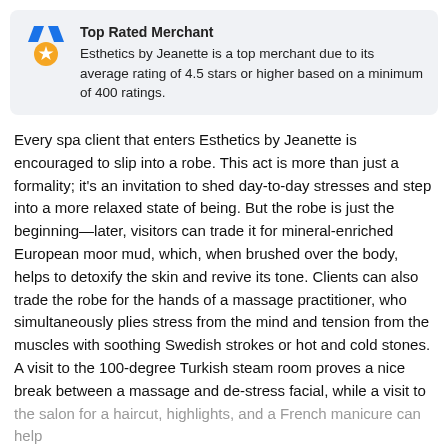Top Rated Merchant
Esthetics by Jeanette is a top merchant due to its average rating of 4.5 stars or higher based on a minimum of 400 ratings.
Every spa client that enters Esthetics by Jeanette is encouraged to slip into a robe. This act is more than just a formality; it's an invitation to shed day-to-day stresses and step into a more relaxed state of being. But the robe is just the beginning—later, visitors can trade it for mineral-enriched European moor mud, which, when brushed over the body, helps to detoxify the skin and revive its tone. Clients can also trade the robe for the hands of a massage practitioner, who simultaneously plies stress from the mind and tension from the muscles with soothing Swedish strokes or hot and cold stones. A visit to the 100-degree Turkish steam room proves a nice break between a massage and de-stress facial, while a visit to the salon for a haircut, highlights, and a French manicure can help
Over 50 views today, so act now!
Add to Cart
Buy Now